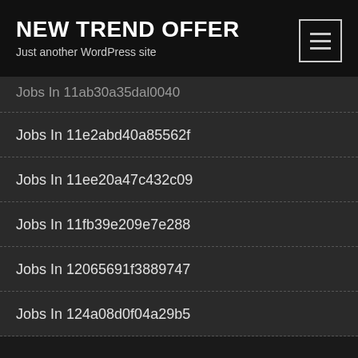NEW TREND OFFER
Just another WordPress site
Jobs In 11ab30a35dal0040
Jobs In 11e2abd40a85562f
Jobs In 11ee20a47c432c09
Jobs In 11fb39e209e7e288
Jobs In 12065691f3889747
Jobs In 124a08d0f04a29b5